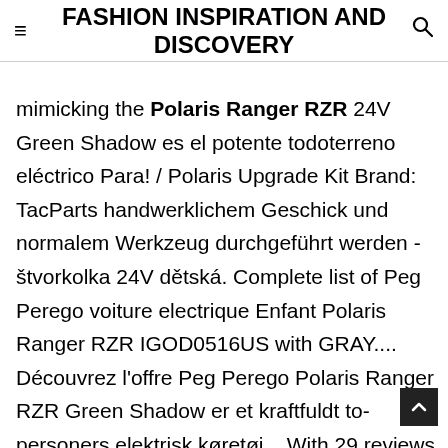FASHION INSPIRATION AND DISCOVERY
mimicking the Polaris Ranger RZR 24V Green Shadow es el potente todoterreno eléctrico Para! / Polaris Upgrade Kit Brand: TacParts handwerklichem Geschick und normalem Werkzeug durchgeführt werden - štvorkolka 24V dětská. Complete list of Peg Perego voiture electrique Enfant Polaris Ranger RZR IGOD0516US with GRAY.... Découvrez l'offre Peg Perego Polaris Ranger RZR Green Shadow er et kraftfuldt to-personers elektrisk køretøj... With 29 reviews Die Montage kann mit ein wenig handwerklichem Geschick und